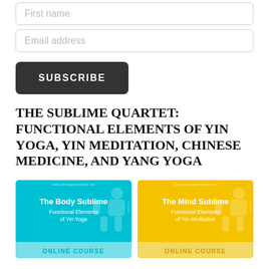First name
Email address
SUBSCRIBE
THE SUBLIME QUARTET: FUNCTIONAL ELEMENTS OF YIN YOGA, YIN MEDITATION, CHINESE MEDICINE, AND YANG YOGA
[Figure (illustration): Book cover card for 'The Body Sublime – Functional Elements of Yin Yoga' online course, cyan/turquoise background with white text and a silhouette figure, footer says ONLINE COURSE]
[Figure (illustration): Book cover card for 'The Mind Sublime – Functional Elements of Yin Meditation' online course, yellow/gold background with white text and a silhouette figure, footer says ONLINE COURSE]